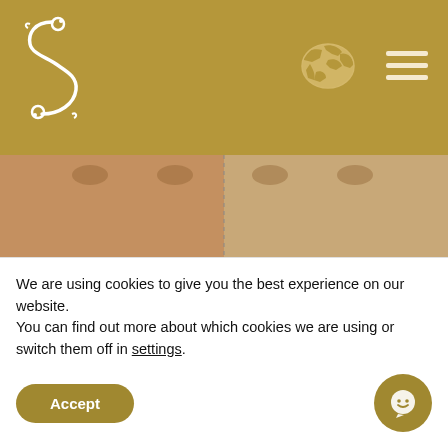[Figure (logo): Decorative S-shaped logo in white on gold background]
[Figure (illustration): World map icon and hamburger menu icon on top-right of gold header]
[Figure (photo): Before and after dental treatment photo showing two men smiling side by side — left man has yellow/discolored teeth (before), right man has white teeth (after). A gold S-logo pendant hangs in the center.]
[Figure (photo): Partial second before/after photo strip showing close-up of lips]
We are using cookies to give you the best experience on our website.
You can find out more about which cookies we are using or switch them off in settings.
[Figure (other): Accept button (gold rounded pill) and chat button (gold circle with smiley face icon)]